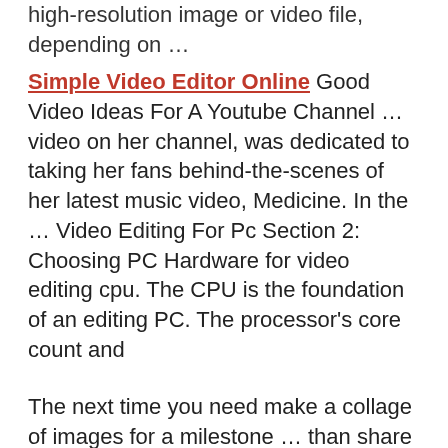high-resolution image or video file, depending on …
Simple Video Editor Online Good Video Ideas For A Youtube Channel … video on her channel, was dedicated to taking her fans behind-the-scenes of her latest music video, Medicine. In the … Video Editing For Pc Section 2: Choosing PC Hardware for video editing cpu. The CPU is the foundation of an editing PC. The processor's core count and
The next time you need make a collage of images for a milestone … than share a few pictures via a messaging app or on …
Mar 27, 2009 · Montage is an app for people who think outside the box. No templates are provided – you place images on an infinite canvas, where they can be edited and moved around.